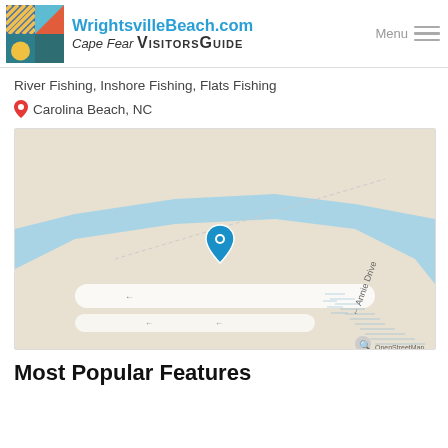[Figure (logo): WrightsvilleBeach.com Cape Fear Visitors Guide header logo with colorful grid icon]
River Fishing, Inshore Fishing, Flats Fishing
Carolina Beach, NC
[Figure (map): Street map showing a coastal area near Carolina Beach, NC with a blue location pin marker on a sandy peninsula, water in blue, Annie Drive labeled, and OpenStreetMap attribution]
Most Popular Features